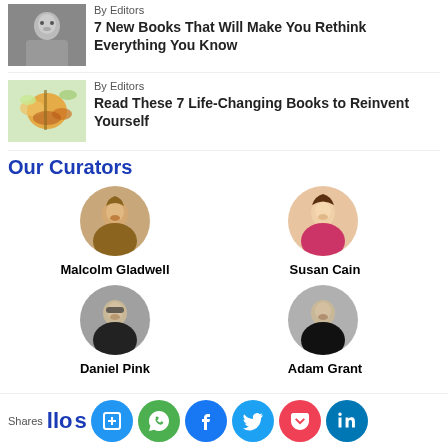[Figure (photo): Black and white photo of a young child looking surprised]
By Editors
7 New Books That Will Make You Rethink Everything You Know
[Figure (photo): Colorful butterfly on flowers]
By Editors
Read These 7 Life-Changing Books to Reinvent Yourself
Our Curators
[Figure (photo): Circular portrait of Malcolm Gladwell]
Malcolm Gladwell
[Figure (photo): Circular portrait of Susan Cain]
Susan Cain
[Figure (photo): Circular portrait of Daniel Pink]
Daniel Pink
[Figure (photo): Circular portrait of Adam Grant]
Adam Grant
Shares  llo…s  [social share icons: Sito, WhatsApp, Facebook, Twitter, Pocket, LinkedIn]